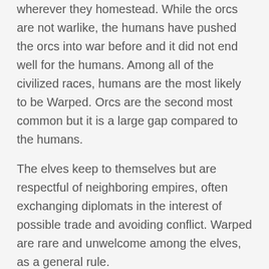wherever they homestead. While the orcs are not warlike, the humans have pushed the orcs into war before and it did not end well for the humans. Among all of the civilized races, humans are the most likely to be Warped. Orcs are the second most common but it is a large gap compared to the humans.
The elves keep to themselves but are respectful of neighboring empires, often exchanging diplomats in the interest of possible trade and avoiding conflict. Warped are rare and unwelcome among the elves, as a general rule.
The dwarves spread far and wide, anywhere there are trees suitable for their habitats and they are tolerated by any other inhabitants. Finding Warped dwarves is rare and they are tolerated well by other dwarves, given that they are law-abiding.
The goblins have a small region of land they have infested